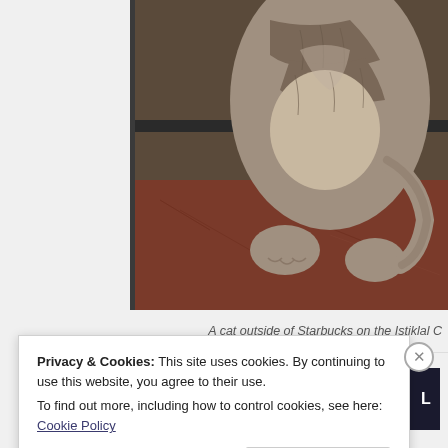[Figure (photo): A close-up photo of a cat's body and paws resting on a reddish-brown surface near a dark window or wall. The cat appears to be a tabby with grey/brown striped fur.]
A cat outside of Starbucks on the Istiklal C
[Figure (infographic): Dark navy advertisement banner with a circular white icon showing a person/bonsai tree silhouette, and cyan text reading 'Launch your online course with WordPress' with a partial 'L' on the right edge.]
Privacy & Cookies: This site uses cookies. By continuing to use this website, you agree to their use.
To find out more, including how to control cookies, see here: Cookie Policy
Close and accept